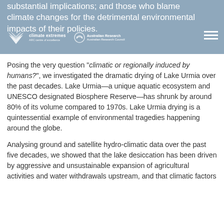substantial implications; and those who blame climate changes for the detrimental environmental impacts of their policies.
Posing the very question "climatic or regionally induced by humans?", we investigated the dramatic drying of Lake Urmia over the past decades. Lake Urmia—a unique aquatic ecosystem and UNESCO designated Biosphere Reserve—has shrunk by around 80% of its volume compared to 1970s. Lake Urmia drying is a quintessential example of environmental tragedies happening around the globe.
Analysing ground and satellite hydro-climatic data over the past five decades, we showed that the lake desiccation has been driven by aggressive and unsustainable expansion of agricultural activities and water withdrawals upstream, and that climatic factors...